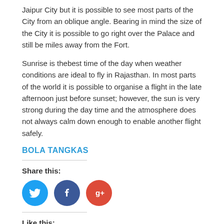Jaipur City but it is possible to see most parts of the City from an oblique angle.  Bearing in mind the size of the City it is possible to go right over the Palace and still be miles away from the Fort.
Sunrise is thebest time of the day when weather conditions are ideal to fly in Rajasthan. In most parts of the world it is possible to organise a flight in the late afternoon just before sunset; however, the sun is very strong during the day time and the atmosphere does not always calm down enough to enable another flight safely.
BOLA TANGKAS
Share this:
[Figure (other): Social share buttons: Twitter (blue circle), Facebook (dark blue circle), Google+ (red circle)]
Like this:
Loading...
November 22, 2017